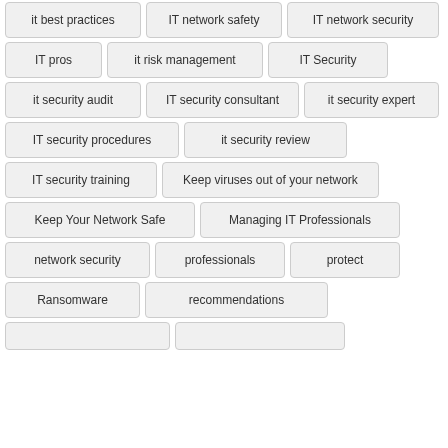it best practices
IT network safety
IT network security
IT pros
it risk management
IT Security
it security audit
IT security consultant
it security expert
IT security procedures
it security review
IT security training
Keep viruses out of your network
Keep Your Network Safe
Managing IT Professionals
network security
professionals
protect
Ransomware
recommendations